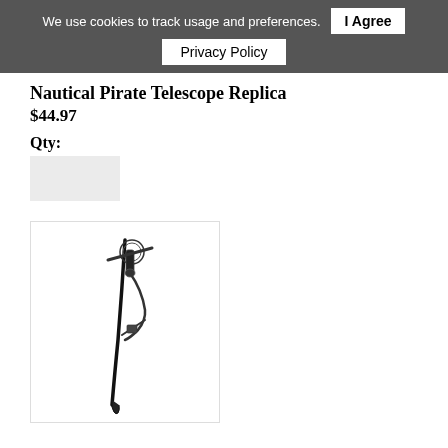We use cookies to track usage and preferences. I Agree Privacy Policy
Nautical Pirate Telescope Replica
$44.97
Qty:
[Figure (photo): A pirate cutlass sword with an ornate hand guard, shown at an angle on a white background]